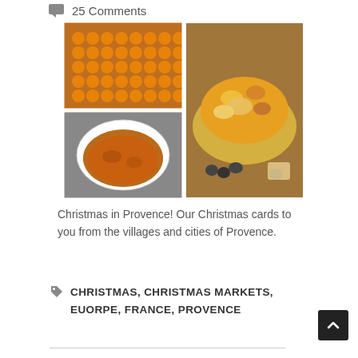25 Comments
[Figure (photo): Collage of four food photos: top-left shows rows of small orange kumquats/citrus on a baking rack, top-right and bottom-right show candied/crystallized fruits in a yellow bowl and on a tray, bottom-left shows a white bowl of amber-colored jam or preserves.]
Christmas in Provence! Our Christmas cards to you from the villages and cities of Provence.
CHRISTMAS, CHRISTMAS MARKETS, EUORPE, FRANCE, PROVENCE